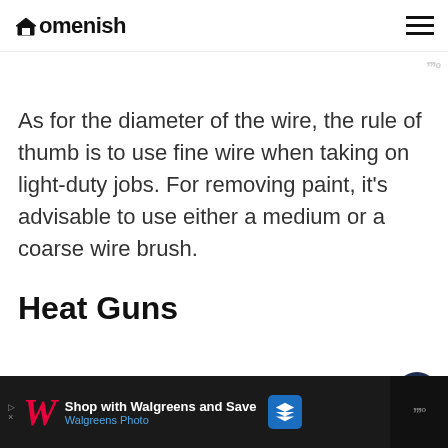Homenish
[Figure (screenshot): Partial advertisement banner with blue and green gradient background]
As for the diameter of the wire, the rule of thumb is to use fine wire when taking on light-duty jobs. For removing paint, it's advisable to use either a medium or a coarse wire brush.
Heat Guns
[Figure (infographic): Side action buttons: heart/like button with count 1, and share button]
[Figure (screenshot): Walgreens advertisement banner: Shop with Walgreens and Save, Walgreens Photo]